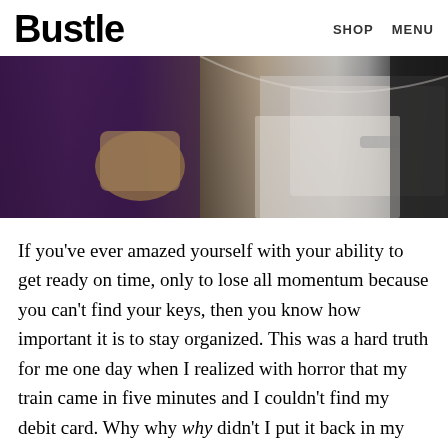Bustle  SHOP  MENU
[Figure (photo): A person carrying a brown bag next to a white car, outdoor scene, dark toned photo.]
If you've ever amazed yourself with your ability to get ready on time, only to lose all momentum because you can't find your keys, then you know how important it is to stay organized. This was a hard truth for me one day when I realized with horror that my train came in five minutes and I couldn't find my debit card. Why why why didn't I put it back in my wallet? I had to shuffle through my backpack and my coat pockets looking for it so I could buy a ticket, thus missing the